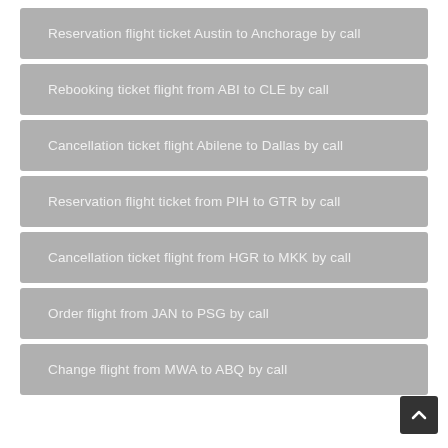Reservation flight ticket Austin to Anchorage by call
Rebooking ticket flight from ABI to CLE by call
Cancellation ticket flight Abilene to Dallas by call
Reservation flight ticket from PIH to GTR by call
Cancellation ticket flight from HGR to MKK by call
Order flight from JAN to PSG by call
Change flight from MWA to ABQ by call